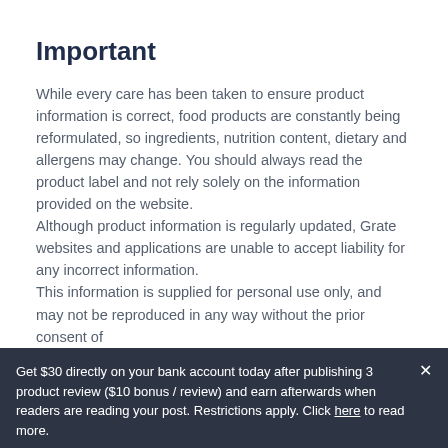Important
While every care has been taken to ensure product information is correct, food products are constantly being reformulated, so ingredients, nutrition content, dietary and allergens may change. You should always read the product label and not rely solely on the information provided on the website.
Although product information is regularly updated, Grate websites and applications are unable to accept liability for any incorrect information.
This information is supplied for personal use only, and may not be reproduced in any way without the prior consent of
Get $30 directly on your bank account today after publishing 3 product review ($10 bonus / review) and earn afterwards when readers are reading your post. Restrictions apply. Click here to read more.